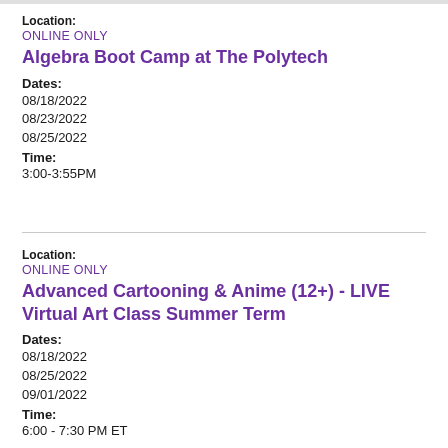Location:
ONLINE ONLY
Algebra Boot Camp at The Polytech
Dates:
08/18/2022
08/23/2022
08/25/2022
Time:
3:00-3:55PM
Location:
ONLINE ONLY
Advanced Cartooning & Anime (12+) - LIVE Virtual Art Class Summer Term
Dates:
08/18/2022
08/25/2022
09/01/2022
Time:
6:00 - 7:30 PM ET